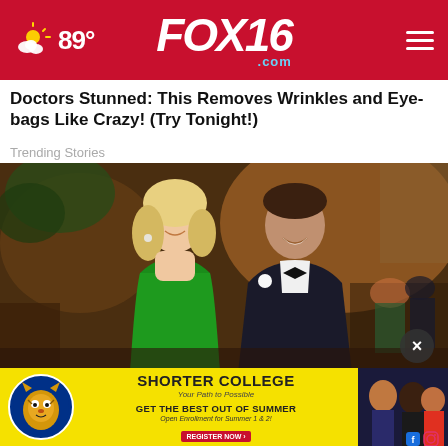FOX16.com — 89°
Doctors Stunned: This Removes Wrinkles and Eye-bags Like Crazy! (Try Tonight!)
Trending Stories
[Figure (photo): A smiling couple at a formal event. A blonde woman in a green one-shoulder dress stands next to a man in a black tuxedo with a white boutonniere. They are in a warmly lit ballroom setting.]
The … the List
[Figure (infographic): Shorter College advertisement banner. Yellow background with college mascot logo, text reading SHORTER COLLEGE, Near Path to Possible, GET THE BEST OUT OF SUMMER, Open Enrollment for Summer 1 & 2!, and a REGISTER NOW button. Right side shows photo of students.]